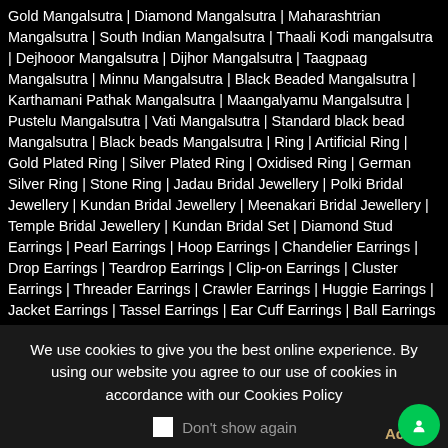Gold Mangalsutra | Diamond Mangalsutra | Maharashtrian Mangalsutra | South Indian Mangalsutra | Thaali Kodi mangalsutra | Dejhooor Mangalsutra | Dijhor Mangalsutra | Taagpaag Mangalsutra | Minnu Mangalsutra | Black Beaded Mangalsutra | Karthamani Pathak Mangalsutra | Maangalyamu Mangalsutra | Pustelu Mangalsutra | Vati Mangalsutra | Standard black bead Mangalsutra | Black beads Mangalsutra | Ring | Artificial Ring | Gold Plated Ring | Silver Plated Ring | Oxidised Ring | German Silver Ring | Stone Ring | Jadau Bridal Jewellery | Polki Bridal Jewellery | Kundan Bridal Jewellery | Meenakari Bridal Jewellery | Temple Bridal Jewellery | Kundan Bridal Set | Diamond Stud Earrings | Pearl Earrings | Hoop Earrings | Chandelier Earrings | Drop Earrings | Teardrop Earrings | Clip-on Earrings | Cluster Earrings | Threader Earrings | Crawler Earrings | Huggie Earrings | Jacket Earrings | Tassel Earrings | Ear Cuff Earrings | Ball Earrings | Streamlined Hoops | Mismatched Earrings | Cartilage Earrings | Hypoallergenic Earrings |
We use cookies to give you the best online experience. By using our website you agree to our use of cookies in accordance with our Cookies Policy